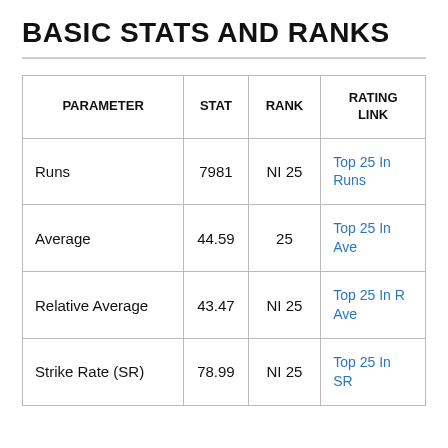BASIC STATS AND RANKS
| PARAMETER | STAT | RANK | RATING LINK |
| --- | --- | --- | --- |
| Runs | 7981 | NI 25 | Top 25 In Runs |
| Average | 44.59 | 25 | Top 25 In Ave |
| Relative Average | 43.47 | NI 25 | Top 25 In R Ave |
| Strike Rate (SR) | 78.99 | NI 25 | Top 25 In SR |